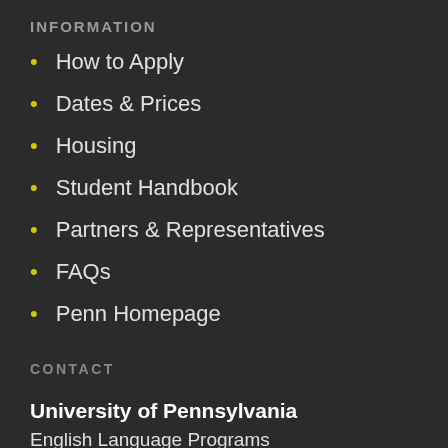INFORMATION
How to Apply
Dates & Prices
Housing
Student Handbook
Partners & Representatives
FAQs
Penn Homepage
CONTACT
University of Pennsylvania
English Language Programs